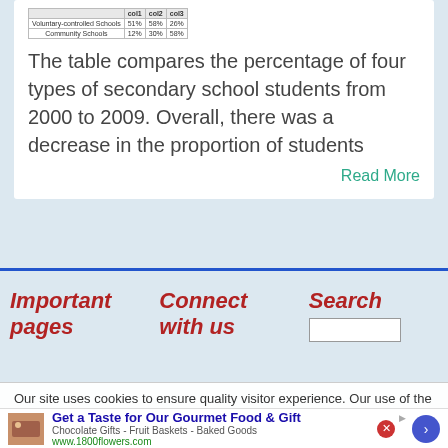[Figure (table-as-image): Small thumbnail table showing percentages of school types including Voluntary-controlled Schools and Community Schools with columns for years around 2000-2009]
The table compares the percentage of four types of secondary school students from 2000 to 2009. Overall, there was a decrease in the proportion of students
Read More
Important pages
Connect with us
Search
Our site uses cookies to ensure quality visitor experience. Our use of the
Get a Taste for Our Gourmet Food & Gift
Chocolate Gifts - Fruit Baskets - Baked Goods
www.1800flowers.com